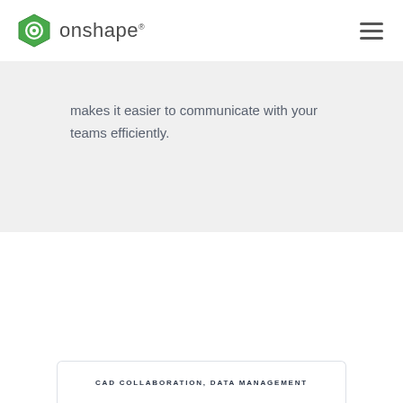[Figure (logo): Onshape logo with hexagonal icon and wordmark]
makes it easier to communicate with your teams efficiently.
Suggested Content
CAD COLLABORATION, DATA MANAGEMENT